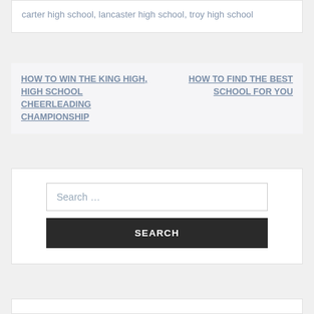carter high school, lancaster high school, troy high school
HOW TO WIN THE KING HIGH, HIGH SCHOOL CHEERLEADING CHAMPIONSHIP
HOW TO FIND THE BEST SCHOOL FOR YOU
Search …
SEARCH